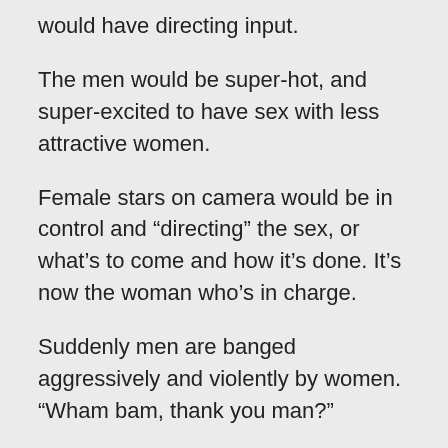would have directing input.
The men would be super-hot, and super-excited to have sex with less attractive women.
Female stars on camera would be in control and “directing” the sex, or what’s to come and how it’s done. It’s now the woman who’s in charge.
Suddenly men are banged aggressively and violently by women. “Wham bam, thank you man?”
In fact, females dominating males would be a major theme. Women would humiliate men, calling them whores, and force them